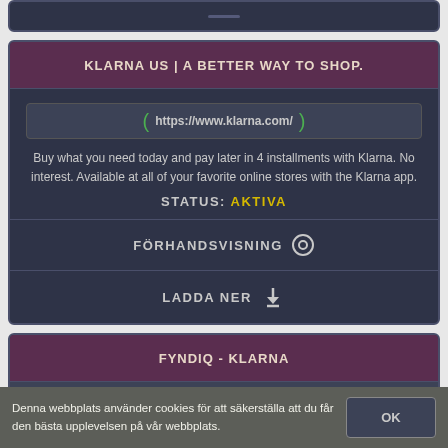[Figure (screenshot): Partial top of a card UI element with dark background]
KLARNA US | A BETTER WAY TO SHOP.
https://www.klarna.com/
Buy what you need today and pay later in 4 installments with Klarna. No interest. Available at all of your favorite online stores with the Klarna app.
STATUS: AKTIVA
FÖRHANDSVISNING
LADDA NER
FYNDIQ - KLARNA
Denna webbplats använder cookies för att säkerställa att du får den bästa upplevelsen på vår webbplats.